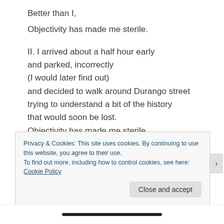Better than I,
Objectivity has made me sterile.
II. I arrived about a half hour early
and parked, incorrectly
(I would later find out)
and decided to walk around Durango street
trying to understand a bit of the history
that would soon be lost.
Objectivity has made me sterile
And I sought to find within the buildings
A hint of the audacity
Privacy & Cookies: This site uses cookies. By continuing to use this website, you agree to their use. To find out more, including how to control cookies, see here: Cookie Policy
Close and accept